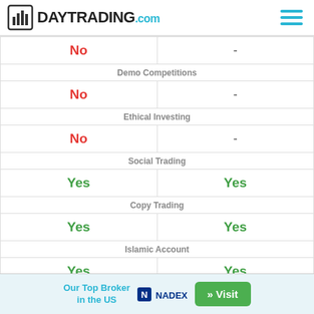DAYTRADING.com
| Column1 | Column2 |
| --- | --- |
| No | - |
| Demo Competitions |  |
| No | - |
| Ethical Investing |  |
| No | - |
| Social Trading |  |
| Yes | Yes |
| Copy Trading |  |
| Yes | Yes |
| Islamic Account |  |
| Yes | Yes |
| Account Currencies |  |
Our Top Broker in the US
[Figure (logo): NADEX logo]
» Visit